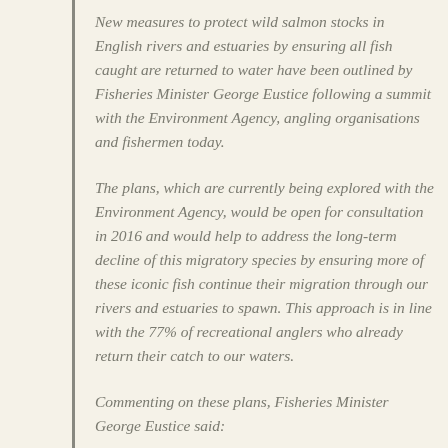New measures to protect wild salmon stocks in English rivers and estuaries by ensuring all fish caught are returned to water have been outlined by Fisheries Minister George Eustice following a summit with the Environment Agency, angling organisations and fishermen today.
The plans, which are currently being explored with the Environment Agency, would be open for consultation in 2016 and would help to address the long-term decline of this migratory species by ensuring more of these iconic fish continue their migration through our rivers and estuaries to spawn. This approach is in line with the 77% of recreational anglers who already return their catch to our waters.
Commenting on these plans, Fisheries Minister George Eustice said: